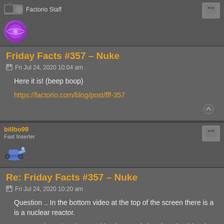Factorio Staff
Friday Facts #357 – Nuke
Fri Jul 24, 2020 10:04 am
Here it is! (beep boop)
https://factorio.com/blog/post/fff-357
billbo99
Fast Inserter
Re: Friday Facts #357 – Nuke
Fri Jul 24, 2020 10:20 am
Question .. In the bottom video at the top of the screen there is a is a nuclear reactor.
I can see it getting damaged by the atomic bomb .. shouldn't that have caused it to go into meltdown and explode too ?